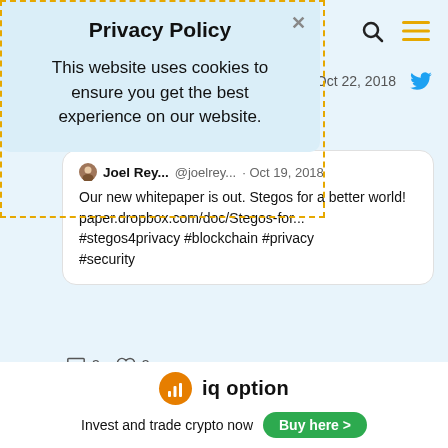Privacy Policy
This website uses cookies to ensure you get the best experience on our website.
Oct 22, 2018
Great news to start a week with!
Joel Rey...  @joelrey...  · Oct 19, 2018
Our new whitepaper is out. Stegos for a better world!
paper.dropbox.com/doc/Stegos-for...
#stegos4privacy #blockchain #privacy #security
3  3
iq option
Invest and trade crypto now  Buy here >